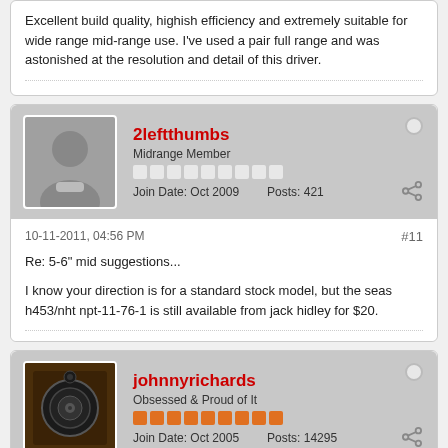Excellent build quality, highish efficiency and extremely suitable for wide range mid-range use. I've used a pair full range and was astonished at the resolution and detail of this driver.
2leftthumbs
Midrange Member
Join Date: Oct 2009   Posts: 421
10-11-2011, 04:56 PM
#11
Re: 5-6" mid suggestions...
I know your direction is for a standard stock model, but the seas h453/nht npt-11-76-1 is still available from jack hidley for $20.
johnnyrichards
Obsessed & Proud of It
Join Date: Oct 2005   Posts: 14295